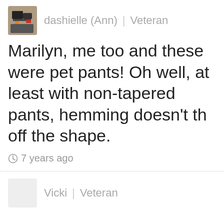[Figure (photo): Avatar image for user dashielle (Ann) showing a small photo with dark tones]
dashielle (Ann) | Veteran
Marilyn, me too and these were pet pants! Oh well, at least with non-tapered pants, hemming doesn't th off the shape.
7 years ago
[Figure (photo): Blank/empty avatar placeholder for user Vicki]
Vicki | Veteran